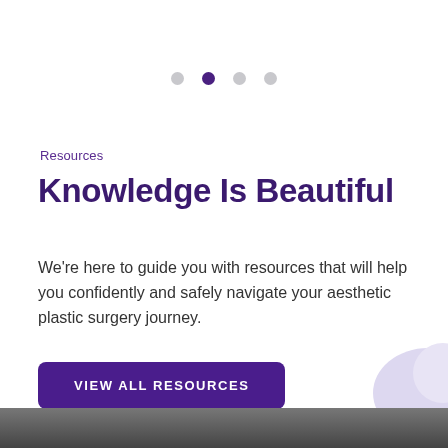[Figure (infographic): Carousel pagination dots: four dots in a row, second dot is filled purple (active), others are grey]
Resources
Knowledge Is Beautiful
We're here to guide you with resources that will help you confidently and safely navigate your aesthetic plastic surgery journey.
VIEW ALL RESOURCES
[Figure (photo): Bottom strip showing top portion of a person's head and a lavender decorative blob shape in the bottom right corner]